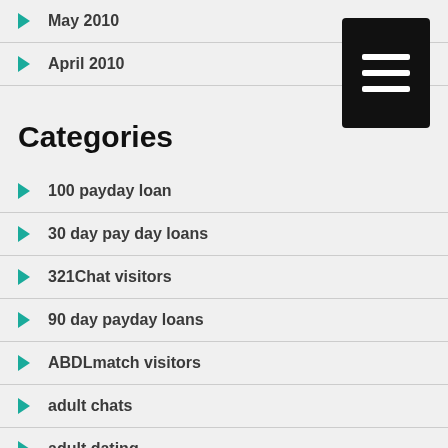May 2010
April 2010
Categories
100 payday loan
30 day pay day loans
321Chat visitors
90 day payday loans
ABDLmatch visitors
adult chats
adult dating
adult dating sites